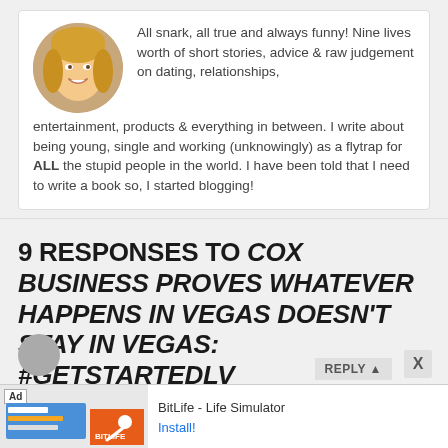[Figure (photo): Circular avatar photo of a blonde woman smiling]
All snark, all true and always funny! Nine lives worth of short stories, advice & raw judgement on dating, relationships, entertainment, products & everything in between. I write about being young, single and working (unknowingly) as a flytrap for ALL the stupid people in the world. I have been told that I need to write a book so, I started blogging!
9 RESPONSES TO COX BUSINESS PROVES WHATEVER HAPPENS IN VEGAS DOESN'T STAY IN VEGAS: #GETSTARTEDLV
[Figure (screenshot): BitLife - Life Simulator advertisement banner with ad label, game screenshot thumbnail, BitLife logo, and Install button]